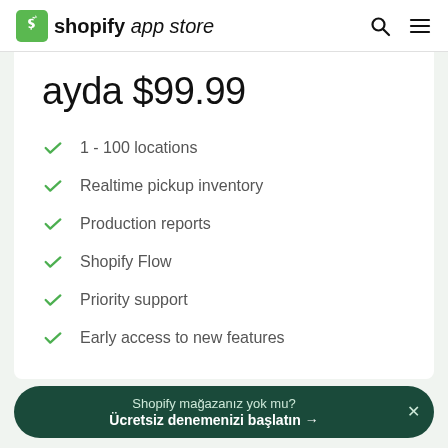shopify app store
ayda $99.99
1 - 100 locations
Realtime pickup inventory
Production reports
Shopify Flow
Priority support
Early access to new features
Shopify mağazanız yok mu? Ücretsiz denemenizi başlatın →